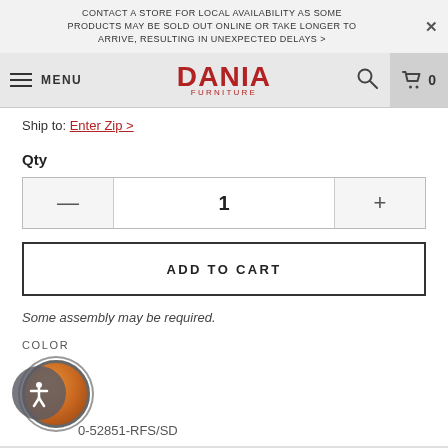CONTACT A STORE FOR LOCAL AVAILABILITY AS SOME PRODUCTS MAY BE SOLD OUT ONLINE OR TAKE LONGER TO ARRIVE, RESULTING IN UNEXPECTED DELAYS >
[Figure (logo): Dania Furniture logo with hamburger menu, search icon, and cart icon showing 0 items]
Ship to: Enter Zip >
Qty
1
ADD TO CART
Some assembly may be required.
COLOR
[Figure (illustration): Circular color swatch showing a tan/cognac leather color with dark border]
0-52851-RFS/SD